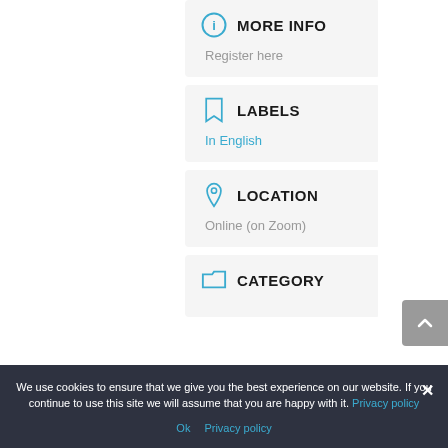MORE INFO
Register here
LABELS
In English
LOCATION
Online (on Zoom)
CATEGORY
We use cookies to ensure that we give you the best experience on our website. If you continue to use this site we will assume that you are happy with it. Privacy policy
Ok Privacy policy